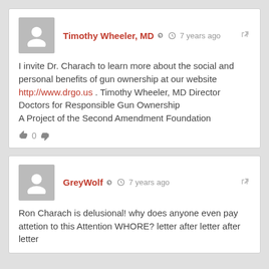Timothy Wheeler, MD — 7 years ago
I invite Dr. Charach to learn more about the social and personal benefits of gun ownership at our website http://www.drgo.us . Timothy Wheeler, MD Director
Doctors for Responsible Gun Ownership
A Project of the Second Amendment Foundation
0
GreyWolf — 7 years ago
Ron Charach is delusional! why does anyone even pay attetion to this Attention WHORE? letter after letter after letter